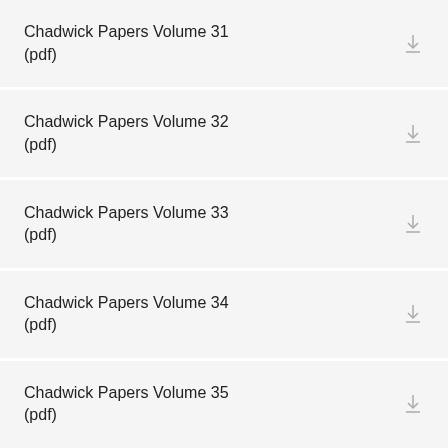Chadwick Papers Volume 31 (pdf)
Chadwick Papers Volume 32 (pdf)
Chadwick Papers Volume 33 (pdf)
Chadwick Papers Volume 34 (pdf)
Chadwick Papers Volume 35 (pdf)